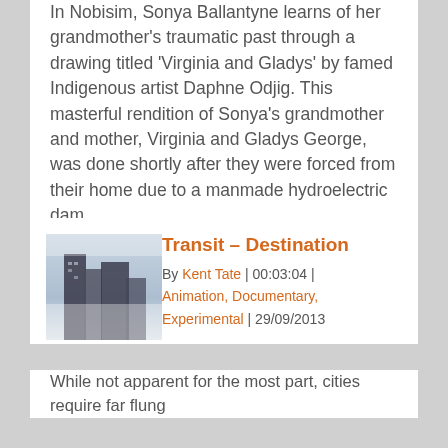In Nobisim, Sonya Ballantyne learns of her grandmother's traumatic past through a drawing titled 'Virginia and Gladys' by famed Indigenous artist Daphne Odjig. This masterful rendition of Sonya's grandmother and mother, Virginia and Gladys George, was done shortly after they were forced from their home due to a manmade hydroelectric dam.
Transit – Destination
By Kent Tate | 00:03:04 | Animation, Documentary, Experimental | 29/09/2013
While not apparent for the most part, cities require far flung